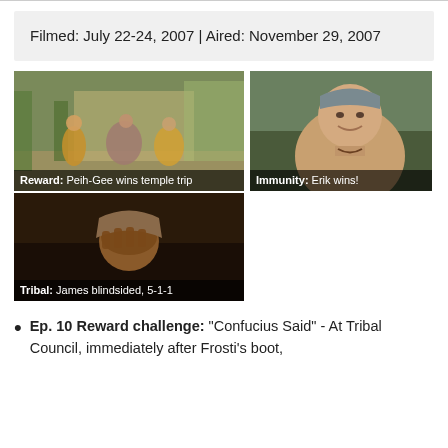Filmed: July 22-24, 2007 | Aired: November 29, 2007
[Figure (photo): Three TV episode screenshots: top-left shows contestants in costume at a temple setting with caption 'Reward: Peih-Gee wins temple trip'; top-right shows a young man smiling with caption 'Immunity: Erik wins!'; bottom-left shows a man covering his face with caption 'Tribal: James blindsided, 5-1-1']
Ep. 10 Reward challenge: "Confucius Said" - At Tribal Council, immediately after Frosti's boot,